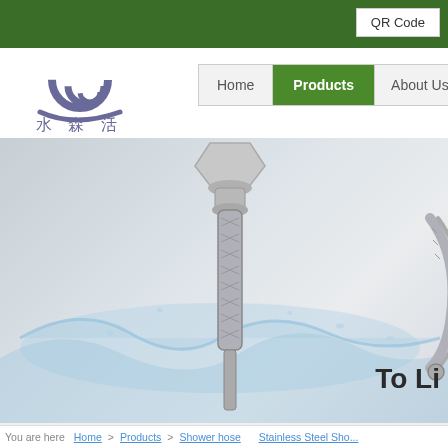QR Code
[Figure (logo): Company logo with swirl design and Chinese characters 水森活]
[Figure (other): Navigation menu with Home, Products (active/green), About Us tabs]
[Figure (photo): Hero image showing stainless steel flexible water hose/connector with water splash effect on grey background, and a curved hose on the right side]
To Li
You are here   Home > Products > Shower hose   Stainless Steel Sho...